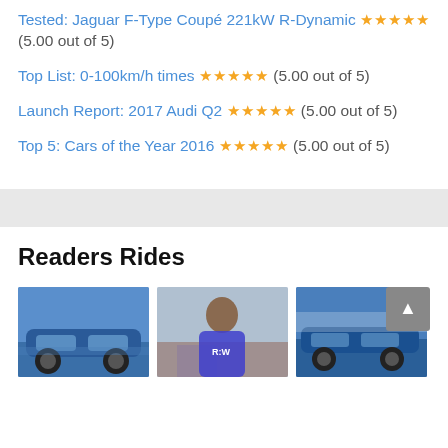Tested: Jaguar F-Type Coupé 221kW R-Dynamic ★★★★★ (5.00 out of 5)
Top List: 0-100km/h times ★★★★★ (5.00 out of 5)
Launch Report: 2017 Audi Q2 ★★★★★ (5.00 out of 5)
Top 5: Cars of the Year 2016 ★★★★★ (5.00 out of 5)
Readers Rides
[Figure (photo): Three thumbnail photos showing reader cars and a person, with a scroll-to-top button overlay]